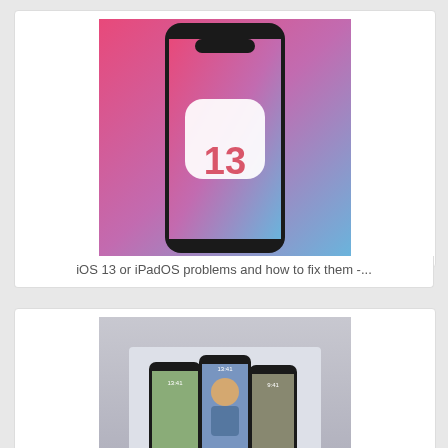[Figure (screenshot): Card 1: iOS 13 icon on an iPhone with colorful gradient background]
iOS 13 or iPadOS problems and how to fix them -...
[Figure (screenshot): Card 2: iOS 16 Lock Screen customization shown on three iPhones on a stage display]
iOS 16 Lock Screen: How To Customize iPhone
[Figure (screenshot): Card 3 (partial): How to conference call using iPhone, partially visible at bottom]